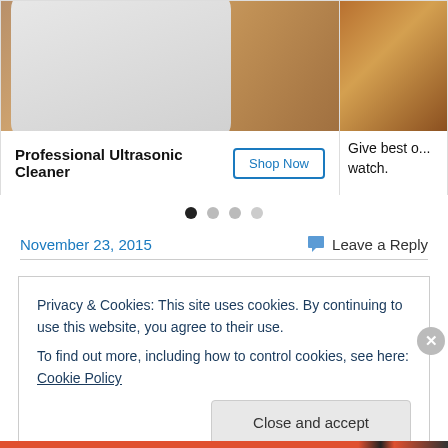[Figure (photo): Product card showing a white Professional Ultrasonic Cleaner device on a wooden surface, with a Shop Now button]
Professional Ultrasonic Cleaner
Give best c... watch.
November 23, 2015
Leave a Reply
Privacy & Cookies: This site uses cookies. By continuing to use this website, you agree to their use.
To find out more, including how to control cookies, see here: Cookie Policy
Close and accept